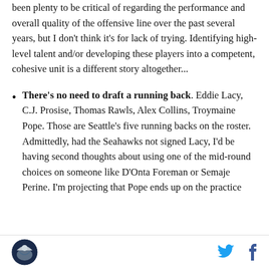been plenty to be critical of regarding the performance and overall quality of the offensive line over the past several years, but I don't think it's for lack of trying. Identifying high-level talent and/or developing these players into a competent, cohesive unit is a different story altogether...
There's no need to draft a running back. Eddie Lacy, C.J. Prosise, Thomas Rawls, Alex Collins, Troymaine Pope. Those are Seattle's five running backs on the roster. Admittedly, had the Seahawks not signed Lacy, I'd be having second thoughts about using one of the mid-round choices on someone like D'Onta Foreman or Semaje Perine. I'm projecting that Pope ends up on the practice